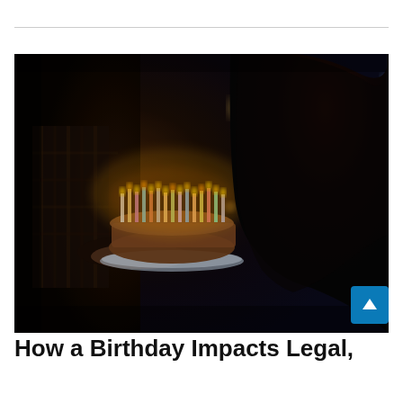[Figure (photo): A dark, moody birthday scene showing a person holding a cake with lit candles toward a woman with long hair leaning in, with bokeh lights in the background.]
How a Birthday Impacts Legal,